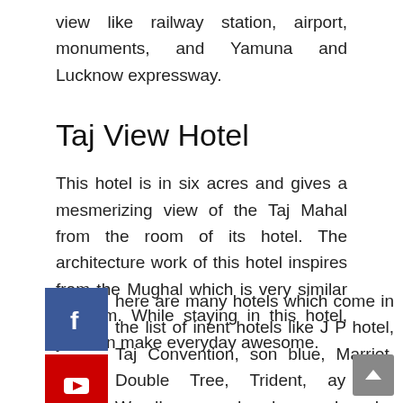view like railway station, airport, monuments, and Yamuna and Lucknow expressway.
Taj View Hotel
This hotel is in six acres and gives a mesmerizing view of the Taj Mahal from the room of its hotel. The architecture work of this hotel inspires from the Mughal which is very similar to them. While staying in this hotel, you can make everyday awesome.
here are many hotels which come in the list of inent hotels like J P hotel, Taj Convention, son blue, Marriot, Double Tree, Trident, ay inn, Wyndham grand and so on. In order to provide excellent night stay to the tourists, a bunch